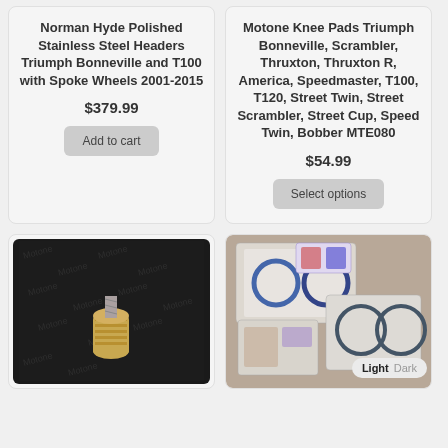Norman Hyde Polished Stainless Steel Headers Triumph Bonneville and T100 with Spoke Wheels 2001-2015
$379.99
Add to cart
Motone Knee Pads Triumph Bonneville, Scrambler, Thruxton, Thruxton R, America, Speedmaster, T100, T120, Street Twin, Street Scrambler, Street Cup, Speed Twin, Bobber MTE080
$54.99
Select options
[Figure (photo): Photo of a small gold-colored metal knurled screw/bolt accessory on a dark branded background with repeated logo watermarks]
[Figure (photo): Photo of sticker sheets with circular rings and patterned decals on a light brown surface, with Light/Dark toggle button overlay]